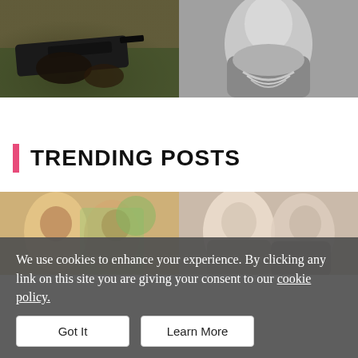[Figure (photo): Two side-by-side photos at top: left shows a person holding a gun/weapon with green foliage background; right is a black and white portrait of a person with a chain necklace]
TRENDING POSTS
[Figure (photo): Two side-by-side photos: left shows an older man with a dark-haired woman near a fountain; right shows Michelle and Barack Obama]
We use cookies to enhance your experience. By clicking any link on this site you are giving your consent to our cookie policy.
Got It   Learn More
Clint Eastwood's $0.6 M...  Obama's New Home I...